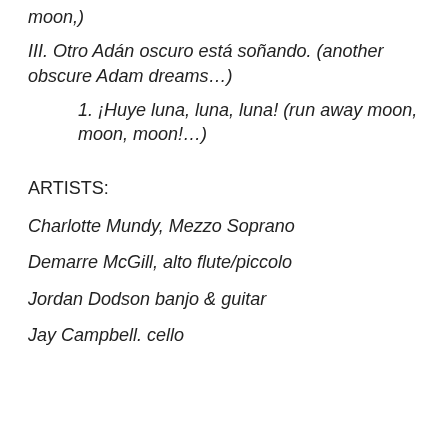moon,)
III. Otro Adán oscuro está soñando. (another obscure Adam dreams…)
1. ¡Huye luna, luna, luna! (run away moon, moon, moon!…)
ARTISTS:
Charlotte Mundy, Mezzo Soprano
Demarre McGill, alto flute/piccolo
Jordan Dodson banjo & guitar
Jay Campbell. cello